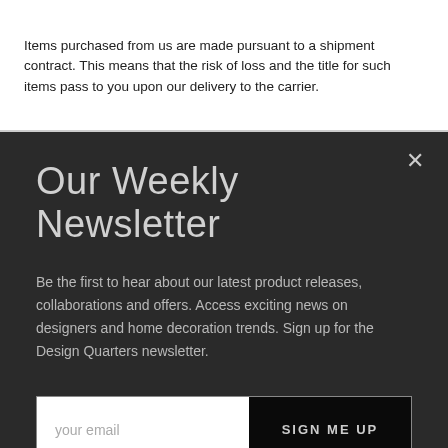Items purchased from us are made pursuant to a shipment contract. This means that the risk of loss and the title for such items pass to you upon our delivery to the carrier.
Our Weekly Newsletter
Be the first to hear about our latest product releases, collaborations and offers. Access exciting news on designers and home decoration trends. Sign up for the Design Quarters newsletter.
your email
SIGN ME UP